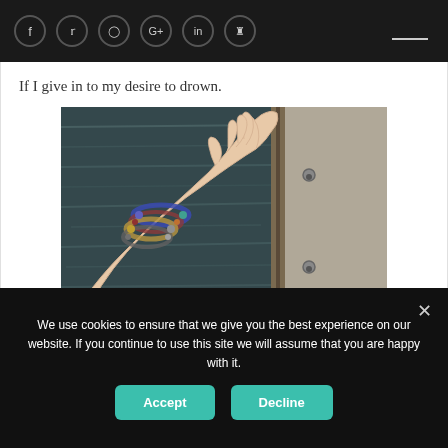f  twitter  instagram  G+  in  pinterest
If I give in to my desire to drown.
[Figure (photo): A hand and arm adorned with multiple bead bracelets reaching out over the edge of a boat toward dark water below. The side of the boat (railing/hull) is visible on the right.]
We use cookies to ensure that we give you the best experience on our website. If you continue to use this site we will assume that you are happy with it.